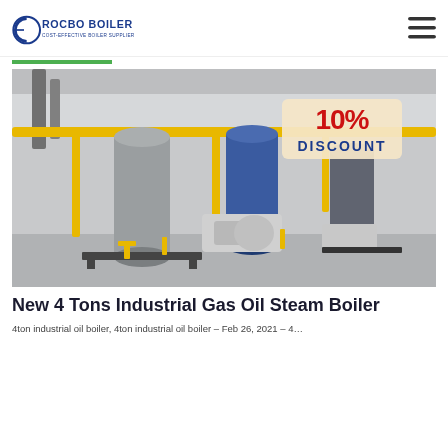ROCBO BOILER — COST-EFFECTIVE BOILER SUPPLIER
[Figure (photo): Industrial gas oil steam boilers in a factory/warehouse setting with yellow pipes, with a '10% DISCOUNT' stamp overlay in the top right corner.]
New 4 Tons Industrial Gas Oil Steam Boiler
4ton industrial oil boiler, 4ton industrial oil boiler – Feb 26, 2021 – 4…